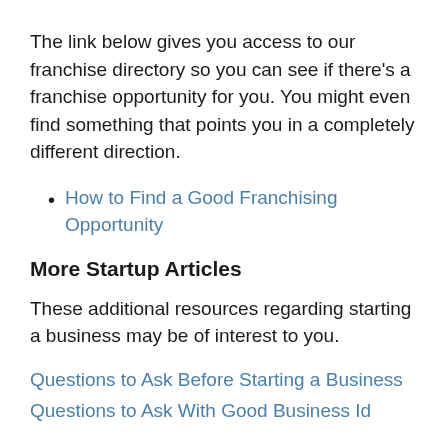The link below gives you access to our franchise directory so you can see if there's a franchise opportunity for you. You might even find something that points you in a completely different direction.
How to Find a Good Franchising Opportunity
More Startup Articles
These additional resources regarding starting a business may be of interest to you.
Questions to Ask Before Starting a Business
Questions to Ask Before Starting a Business (partial second link visible)